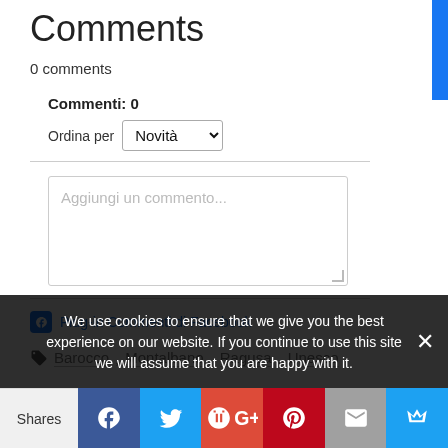Comments
0 comments
Commenti: 0
Ordina per Novità
Aggiungi un commento...
Plug-in Commenti di Facebook
Barocco , Montalbano , Ragusa , Unesco
We use cookies to ensure that we give you the best experience on our website. If you continue to use this site we will assume that you are happy with it.
Shares | Facebook | Twitter | Google+ | Pinterest | Email | Crown